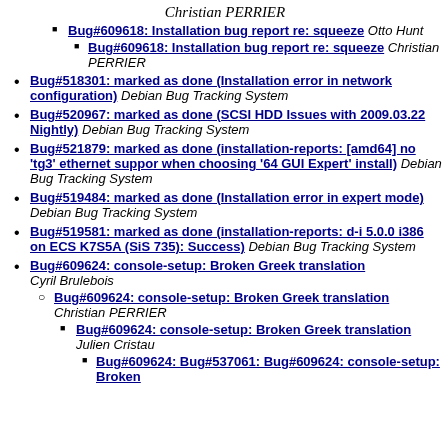Bug#609618: Installation bug report re: squeeze  Otto Hunt
Bug#609618: Installation bug report re: squeeze  Christian PERRIER
Bug#518301: marked as done (Installation error in network configuration)  Debian Bug Tracking System
Bug#520967: marked as done (SCSI HDD Issues with 2009.03.22 Nightly)  Debian Bug Tracking System
Bug#521879: marked as done (installation-reports: [amd64] no 'tg3' ethernet suppor when choosing '64 GUI Expert' install)  Debian Bug Tracking System
Bug#519484: marked as done (Installation error in expert mode)  Debian Bug Tracking System
Bug#519581: marked as done (installation-reports: d-i 5.0.0 i386 on ECS K7S5A (SiS 735): Success)  Debian Bug Tracking System
Bug#609624: console-setup: Broken Greek translation  Cyril Brulebois
Bug#609624: console-setup: Broken Greek translation  Christian PERRIER
Bug#609624: console-setup: Broken Greek translation  Julien Cristau
Bug#609624: Bug#537061: Bug#609624: console-setup: Broken